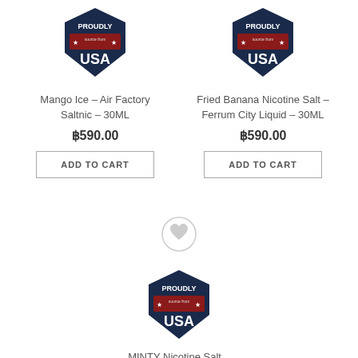[Figure (logo): Proudly USA badge - dark blue shield shape with red banner and stars, text PROUDLY, small text, USA in large white letters]
Mango Ice – Air Factory Saltnic – 30ML
฿590.00
ADD TO CART
[Figure (logo): Proudly USA badge - dark blue shield shape with red banner and stars, text PROUDLY, small text, USA in large white letters]
Fried Banana Nicotine Salt – Ferrum City Liquid – 30ML
฿590.00
ADD TO CART
[Figure (illustration): Heart wishlist icon - circle outline with heart shape inside, light gray color]
[Figure (logo): Proudly USA badge - dark blue shield shape with red banner and stars, text PROUDLY, small text, USA in large white letters]
MINTY Nicotine Salt...